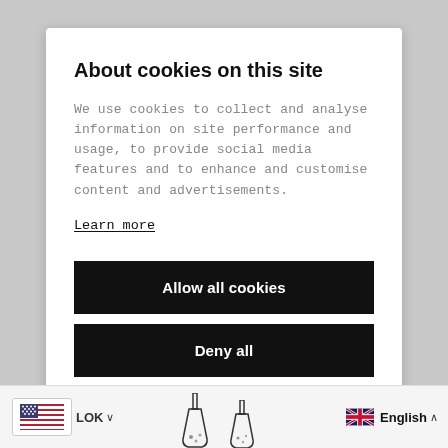About cookies on this site
We use cookies to collect and analyse information on site performance and usage, to provide social media features and to enhance and customise content and advertisements.
Learn more
Allow all cookies
Deny all
Cookie settings
LOK ∨   [flask illustrations]   English ∧